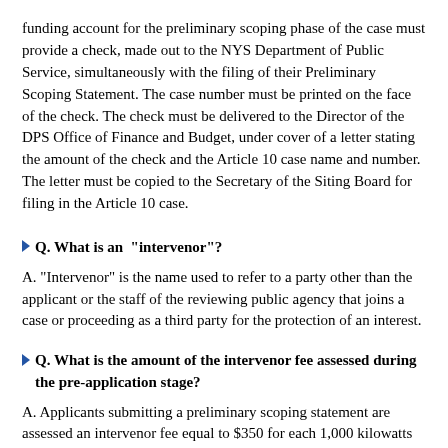funding account for the preliminary scoping phase of the case must provide a check, made out to the NYS Department of Public Service, simultaneously with the filing of their Preliminary Scoping Statement. The case number must be printed on the face of the check. The check must be delivered to the Director of the DPS Office of Finance and Budget, under cover of a letter stating the amount of the check and the Article 10 case name and number. The letter must be copied to the Secretary of the Siting Board for filing in the Article 10 case.
Q. What is an "intervenor"?
A. "Intervenor" is the name used to refer to a party other than the applicant or the staff of the reviewing public agency that joins a case or proceeding as a third party for the protection of an interest.
Q. What is the amount of the intervenor fee assessed during the pre-application stage?
A. Applicants submitting a preliminary scoping statement are assessed an intervenor fee equal to $350 for each 1,000 kilowatts (1 megawatt) of generating capacity of the subject facility, but no more than $200,000. For example, for a 100 megawatt facility, the pre-application intervenor fee would be $35,000 (100 x $350).